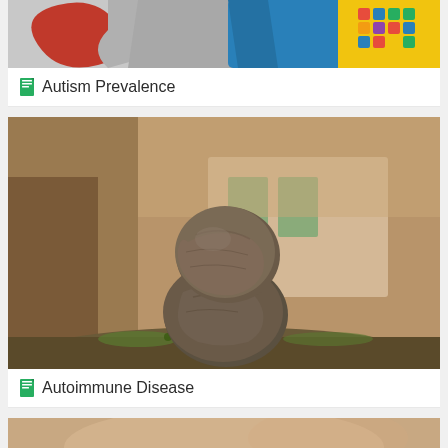[Figure (photo): Top portion of puzzle pieces image - partial view showing autism prevalence illustration with colorful puzzle pieces]
Autism Prevalence
[Figure (photo): Two rounded stones balanced on top of each other on a mossy surface, with blurred background of building and trees - representing balance/autoimmune]
Autoimmune Disease
[Figure (photo): Partial bottom image for next card, appears to show a scene with warm tones]